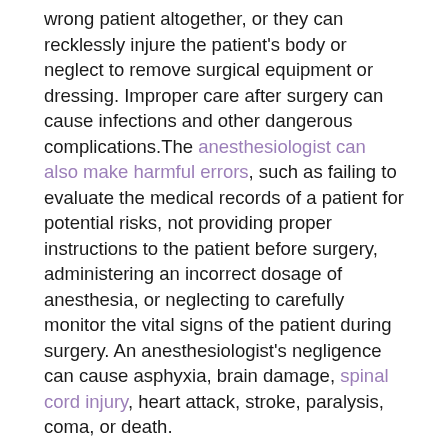wrong patient altogether, or they can recklessly injure the patient's body or neglect to remove surgical equipment or dressing. Improper care after surgery can cause infections and other dangerous complications.The anesthesiologist can also make harmful errors, such as failing to evaluate the medical records of a patient for potential risks, not providing proper instructions to the patient before surgery, administering an incorrect dosage of anesthesia, or neglecting to carefully monitor the vital signs of the patient during surgery. An anesthesiologist's negligence can cause asphyxia, brain damage, spinal cord injury, heart attack, stroke, paralysis, coma, or death.
3. Prescription drug errors. Prescription drug errors can be made during both the prescription process and the administration process. What classifies as medical negligence? A doctor can prescribe the wrong dosage of a medication or prescribe the wrong medication altogether due